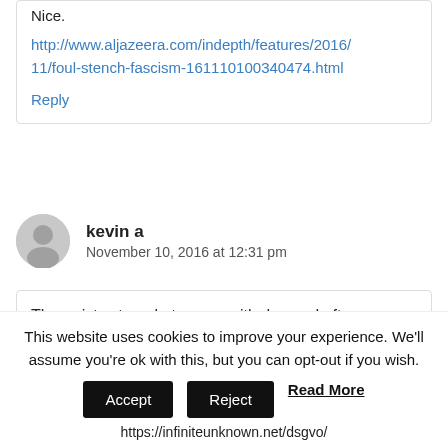Nice.
http://www.aljazeera.com/indepth/features/2016/11/foul-stench-fascism-161110100340474.html
Reply
kevin a
November 10, 2016 at 12:31 pm
Therapists struggle to cope with demand after
This website uses cookies to improve your experience. We'll assume you're ok with this, but you can opt-out if you wish.
Accept
Reject
Read More
https://infiniteunknown.net/dsgvo/